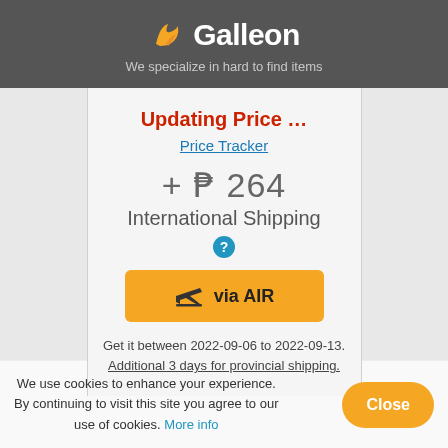[Figure (logo): Galleon logo with orange flame/bird icon and white text 'Galleon' on dark gray background]
We specialize in hard to find items
Updating Price …
Price Tracker
+ ₱ 264
International Shipping
[Figure (infographic): Orange button with plane icon and text 'via AIR']
Get it between 2022-09-06 to 2022-09-13. Additional 3 days for provincial shipping.
We use cookies to enhance your experience. By continuing to visit this site you agree to our use of cookies. More info